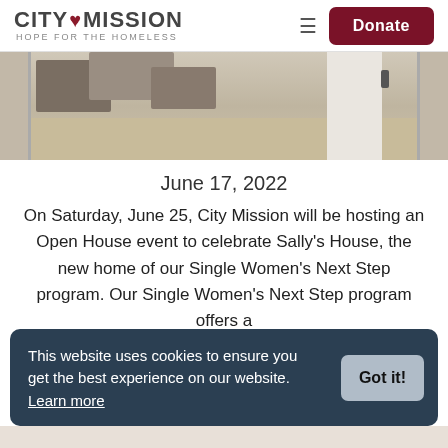CITY MISSION HOPE FOR THE HOMELESS | Donate
[Figure (photo): Partial photo of stone steps, gravel, and white wall exterior of a building]
June 17, 2022
On Saturday, June 25, City Mission will be hosting an Open House event to celebrate Sally’s House, the new home of our Single Women’s Next Step program. Our Single Women’s Next Step program offers a
This website uses cookies to ensure you get the best experience on our website. Learn more
Got it!